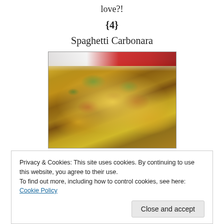love?!
{4}
Spaghetti Carbonara
[Figure (photo): A plate of spaghetti carbonara with bacon pieces and green herbs on top, photographed close-up on a white plate with a red napkin and fork visible in the background.]
Privacy & Cookies: This site uses cookies. By continuing to use this website, you agree to their use.
To find out more, including how to control cookies, see here: Cookie Policy
Close and accept